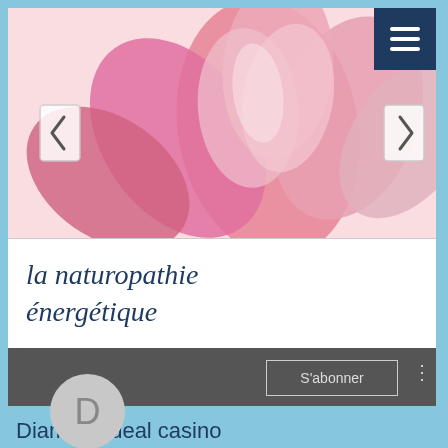[Figure (screenshot): Mobile website screenshot showing a lotus flower slideshow with navigation arrows and hamburger menu]
la naturopathie énergétique
[Figure (screenshot): Dark bar with S'abonner (subscribe) button, three-dot menu, and avatar circle with letter D]
Diamond deal casino